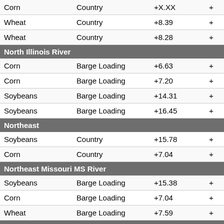| Commodity | Type | Value |  |
| --- | --- | --- | --- |
| Corn | Country | +X.XX | + |
| Wheat | Country | +8.39 | + |
| Wheat | Country | +8.28 | + |
| North Illinois River |  |  |  |
| Corn | Barge Loading | +6.63 | + |
| Corn | Barge Loading | +7.20 | + |
| Soybeans | Barge Loading | +14.31 | + |
| Soybeans | Barge Loading | +16.45 | + |
| Northeast |  |  |  |
| Soybeans | Country | +15.78 | + |
| Corn | Country | +7.04 | + |
| Northeast Missouri MS River |  |  |  |
| Soybeans | Barge Loading | +15.38 | + |
| Corn | Barge Loading | +7.04 | + |
| Wheat | Barge Loading | +7.59 | + |
| Northwest |  |  |  |
| Soybeans | Country | +14.58 | + |
| Corn | Country | +6.83 | + |
| Sorghum | Country | +6.33 | + |
| Wheat | Country | +8.10 | + |
| Soybeans | Country | +14.03 | + |
| Corn | Country | +6.63 | + |
| Wheat | Country | +7.84 | + |